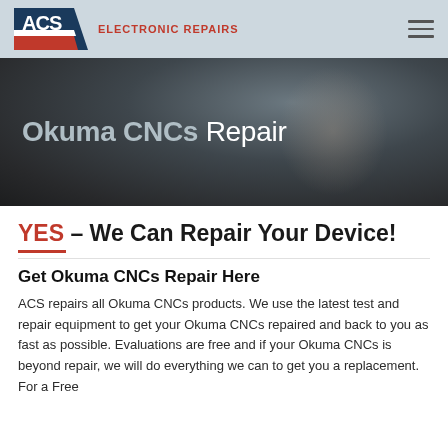ACS ELECTRONIC REPAIRS
[Figure (screenshot): Hero banner image showing a blurred person working, with dark overlay. Text reads: Okuma CNCs Repair]
Okuma CNCs Repair
YES – We Can Repair Your Device!
Get Okuma CNCs Repair Here
ACS repairs all Okuma CNCs products. We use the latest test and repair equipment to get your Okuma CNCs repaired and back to you as fast as possible. Evaluations are free and if your Okuma CNCs is beyond repair, we will do everything we can to get you a replacement. For a Free